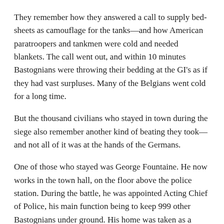They remember how they answered a call to supply bed-sheets as camouflage for the tanks—and how American paratroopers and tankmen were cold and needed blankets. The call went out, and within 10 minutes Bastognians were throwing their bedding at the GI's as if they had vast surpluses. Many of the Belgians went cold for a long time.
But the thousand civilians who stayed in town during the siege also remember another kind of beating they took—and not all of it was at the hands of the Germans.
One of those who stayed was George Fountaine. He now works in the town hall, on the floor above the police station. During the battle, he was appointed Acting Chief of Police, his main function being to keep 999 other Bastognians under ground. His home was taken as a command post and he likes to show you the machine-gun bullet holes in his dining-room table.